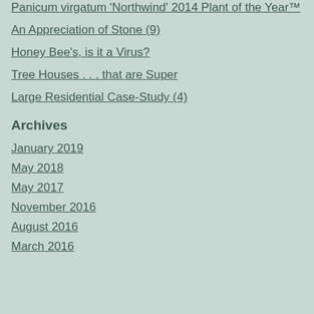Panicum virgatum 'Northwind' 2014 Plant of the Year™
An Appreciation of Stone (9)
Honey Bee's, is it a Virus?
Tree Houses . . . that are Super
Large Residential Case-Study (4)
Archives
January 2019
May 2018
May 2017
November 2016
August 2016
March 2016